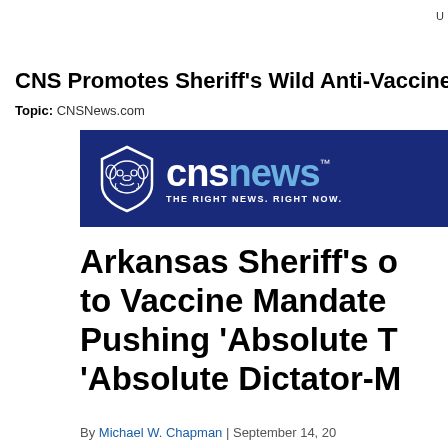U
CNS Promotes Sheriff's Wild Anti-Vaccine R
Topic: CNSNews.com
[Figure (logo): CNSNews logo banner with dark blue background showing a bulldog shield logo and 'cnsnews THE RIGHT NEWS. RIGHT NOW.' text in white and light blue]
Arkansas Sheriff's C to Vaccine Mandate Pushing 'Absolute T 'Absolute Dictator-M
By Michael W. Chapman | September 14, 20